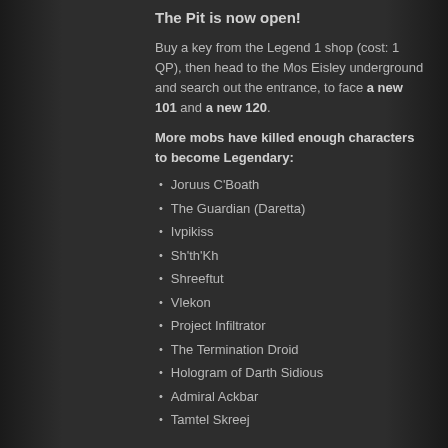The Pit is now open!
Buy a key from the Legend 1 shop (cost: 1 QP), then head to the Mos Eisley underground and search out the entrance, to face a new 101 and a new 120.
More mobs have killed enough characters to become Legendary:
Joruus C'Boath
The Guardian (Daretta)
Ivpikiss
Sh'th'Kh
Shreeftut
Vlekon
Project Infiltrator
The Termination Droid
Hologram of Darth Sidious
Admiral Ackbar
Tamtel Skreej